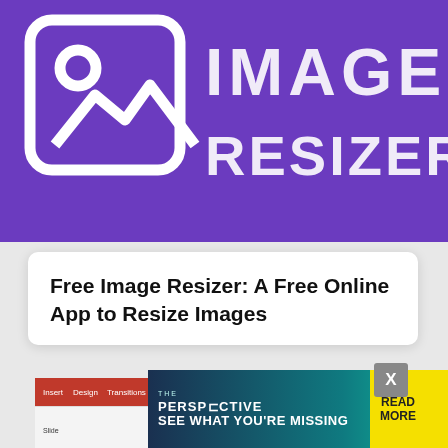[Figure (logo): Image Resizer app logo — purple background with white image/photo icon on the left and bold white text 'IMAGE RESIZER' on the right]
Free Image Resizer: A Free Online App to Resize Images
[Figure (screenshot): Screenshot of Microsoft PowerPoint showing a 'Road Illustration Concept' slide with road graphic and traffic signs]
[Figure (infographic): Ad banner reading 'THE PERSPECTIVE SEE WHAT YOU'RE MISSING' with a READ MORE button in yellow]